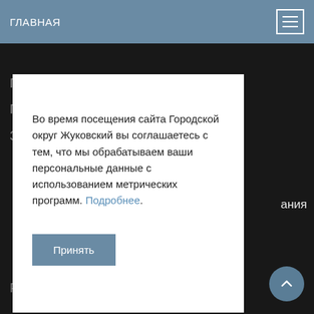ГЛАВНАЯ
Почетные граждане
Город героев
Знак «За заслуги перед городом»
Во время посещения сайта Городской округ Жуковский вы соглашаетесь с тем, что мы обрабатываем ваши персональные данные с использованием метрических программ. Подробнее.
Принять
Руководитель администрации